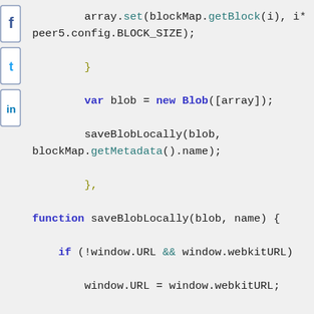[Figure (screenshot): Social media share buttons sidebar on the left (Facebook, Twitter, LinkedIn icons)]
array.set(blockMap.getBlock(i), i* peer5.config.BLOCK_SIZE);
        }

        var blob = new Blob([array]);

        saveBlobLocally(blob,
blockMap.getMetadata().name);

        },

function saveBlobLocally(blob, name) {

    if (!window.URL && window.webkitURL)

        window.URL = window.webkitURL;